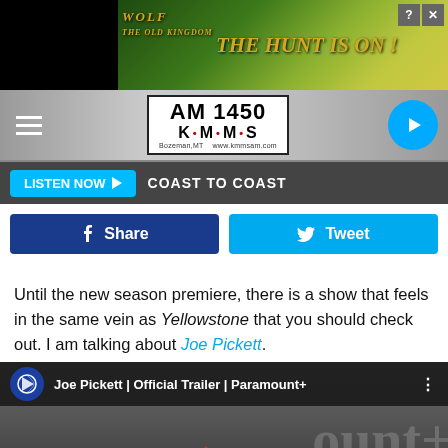[Figure (screenshot): Advertisement banner for Wolf game showing wolves and text 'THE HUNT IS ON!']
[Figure (logo): AM 1450 KMMS radio station logo, Bozeman MT, www.kmmsam.com]
LISTEN NOW  COAST TO COAST
Share  Tweet
Until the new season premiere, there is a show that feels in the same vein as Yellowstone that you should check out. I am talking about Joe Pickett.
[Figure (screenshot): Joe Pickett | Official Trailer | Paramount+ video thumbnail showing a man in a cowboy hat]